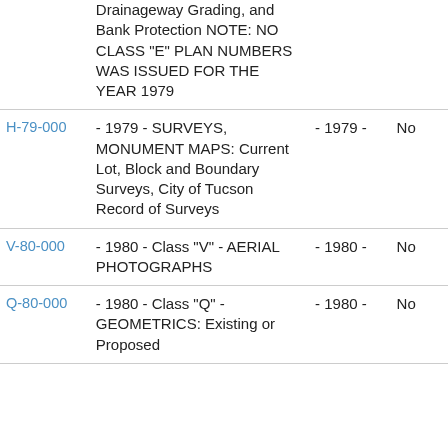| ID | Description | Year | No |
| --- | --- | --- | --- |
|  | Drainageway Grading, and Bank Protection NOTE: NO CLASS "E" PLAN NUMBERS WAS ISSUED FOR THE YEAR 1979 |  |  |
| H-79-000 | - 1979 - SURVEYS, MONUMENT MAPS: Current Lot, Block and Boundary Surveys, City of Tucson Record of Surveys | - 1979 - | No |
| V-80-000 | - 1980 - Class "V" - AERIAL PHOTOGRAPHS | - 1980 - | No |
| Q-80-000 | - 1980 - Class "Q" - GEOMETRICS: Existing or Proposed | - 1980 - | No |